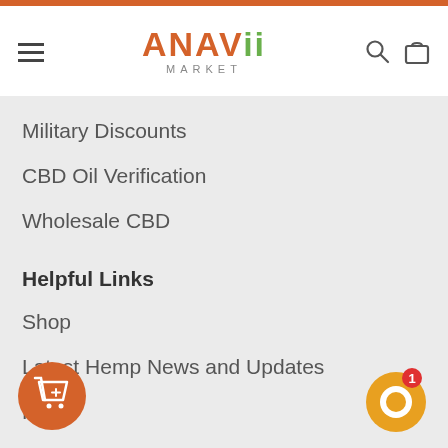[Figure (screenshot): Anavii Market website header with hamburger menu, logo, search icon and bag icon on white background with orange top bar]
Military Discounts
CBD Oil Verification
Wholesale CBD
Helpful Links
Shop
Latest Hemp News and Updates
FAQ
About Us
Shipping
Returns Policy